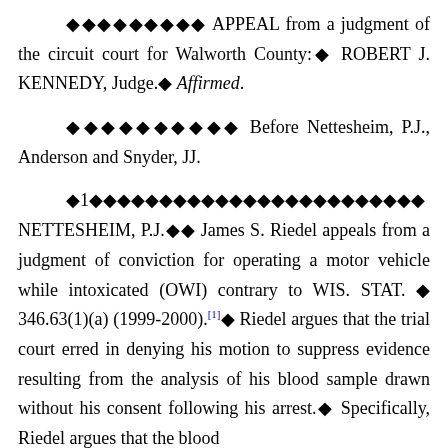◆◆◆◆◆◆◆◆◆ APPEAL from a judgment of the circuit court for Walworth County:◆ ROBERT J. KENNEDY, Judge.◆ Affirmed.
◆◆◆◆◆◆◆◆◆◆ Before Nettesheim, P.J., Anderson and Snyder, JJ.
◆1◆◆◆◆◆◆◆◆◆◆◆◆◆◆◆◆◆◆◆◆◆◆◆◆ NETTESHEIM, P.J.◆◆ James S. Riedel appeals from a judgment of conviction for operating a motor vehicle while intoxicated (OWI) contrary to WIS. STAT. ◆ 346.63(1)(a) (1999-2000).[1]◆ Riedel argues that the trial court erred in denying his motion to suppress evidence resulting from the analysis of his blood sample drawn without his consent following his arrest. Specifically, Riedel argues that the blood